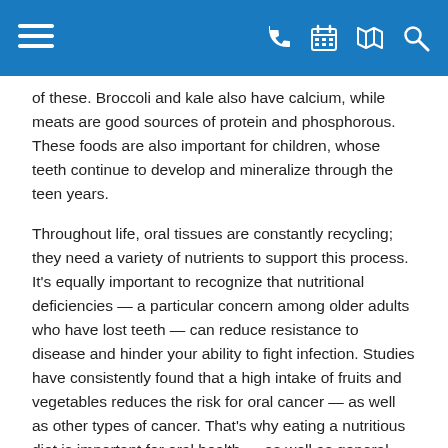Navigation bar with menu, phone, calendar, map, and search icons
of these. Broccoli and kale also have calcium, while meats are good sources of protein and phosphorous. These foods are also important for children, whose teeth continue to develop and mineralize through the teen years.
Throughout life, oral tissues are constantly recycling; they need a variety of nutrients to support this process. It's equally important to recognize that nutritional deficiencies — a particular concern among older adults who have lost teeth — can reduce resistance to disease and hinder your ability to fight infection. Studies have consistently found that a high intake of fruits and vegetables reduces the risk for oral cancer — as well as other types of cancer. That's why eating a nutritious diet is important for oral health — as well as general health — at any age.
Eating Healthy
What's the best diet for you? That depends mainly on your age, gender, height, weight and level of physical activity. But in general, a health-promoting diet is based on the concepts of: